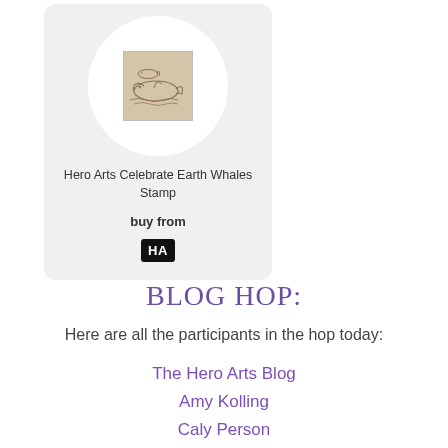[Figure (illustration): Product card showing Hero Arts Celebrate Earth Whales Stamp with circular white background containing a small sketch illustration of whales, on a light grey rounded card. Includes 'buy from' text and a black HA badge logo.]
BLOG HOP:
Here are all the participants in the hop today:
The Hero Arts Blog
Amy Kolling
Caly Person
Channin Pelletier
Daniel West
Debi Adams